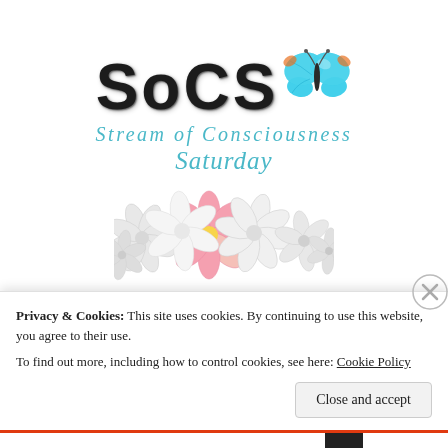[Figure (logo): SoCS Stream of Consciousness Saturday logo with teal butterfly and white/pink flowers]
Privacy & Cookies: This site uses cookies. By continuing to use this website, you agree to their use.
To find out more, including how to control cookies, see here: Cookie Policy
Close and accept